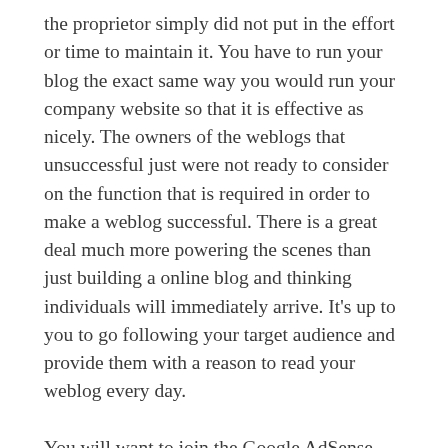the proprietor simply did not put in the effort or time to maintain it. You have to run your blog the exact same way you would run your company website so that it is effective as nicely. The owners of the weblogs that unsuccessful just were not ready to consider on the function that is required in order to make a weblog successful. There is a great deal much more powering the scenes than just building a online blog and thinking individuals will immediately arrive. It’s up to you to go following your target audience and provide them with a reason to read your weblog every day.
You will want to join the Google AdSense affiliate program to assist produce some cash movement. Simply because you do not sell something, this is an simple way to make cash. Google will deliver you a check once a month for any guests that click on the ads provided to you by them.